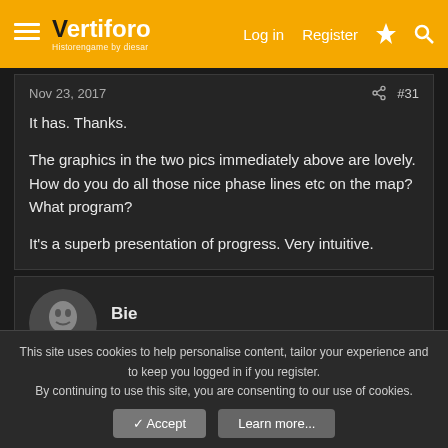Vertiforo — Log In  Register
Nov 23, 2017  #31
It has. Thanks.

The graphics in the two pics immediately above are lovely. How do you do all those nice phase lines etc on the map? What program?

It's a superb presentation of progress. Very intuitive.
Bie
Member
This site uses cookies to help personalise content, tailor your experience and to keep you logged in if you register.
By continuing to use this site, you are consenting to our use of cookies.